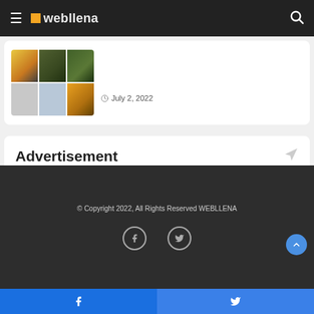webllena
July 2, 2022
Advertisement
© Copyright 2022, All Rights Reserved WEBLLENA